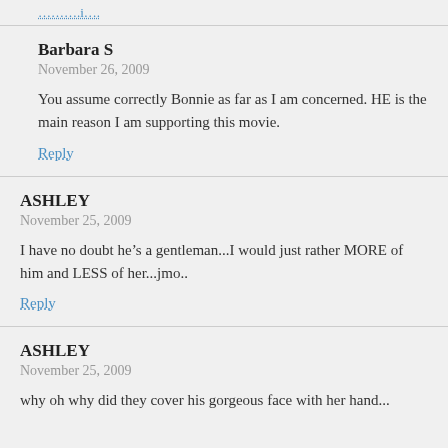……….i….
Barbara S
November 26, 2009
You assume correctly Bonnie as far as I am concerned. HE is the main reason I am supporting this movie.
Reply
ASHLEY
November 25, 2009
I have no doubt he’s a gentleman...I would just rather MORE of him and LESS of her...jmo..
Reply
ASHLEY
November 25, 2009
why oh why did they cover his gorgeous face with her hand...